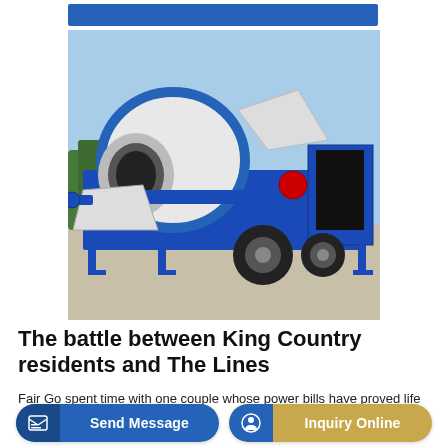[Figure (photo): A blue and white mobile concrete mixer pump machine on wheels, photographed outdoors on a paved surface with trees and blue sky in the background.]
The battle between King Country residents and The Lines
Fair Go spent time with one couple whose power bills have proved life changing, and not in a good way.
Send Message
Inquiry Online